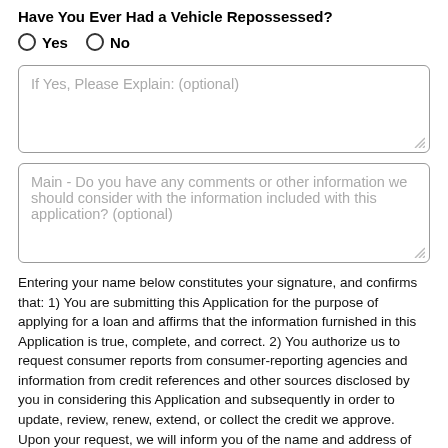Have You Ever Had a Vehicle Repossessed?
Yes  No
If Yes, Please Explain: (optional)
Main - Do you have any comments or other information we should consider with the information included with this application? (optional)
Entering your name below constitutes your signature, and confirms that: 1) You are submitting this Application for the purpose of applying for a loan and affirms that the information furnished in this Application is true, complete, and correct. 2) You authorize us to request consumer reports from consumer-reporting agencies and information from credit references and other sources disclosed by you in considering this Application and subsequently in order to update, review, renew, extend, or collect the credit we approve. Upon your request, we will inform you of the name and address of each consumer-reporting agency from which we obtained a consumer report on you. 3) Married applicants may apply for